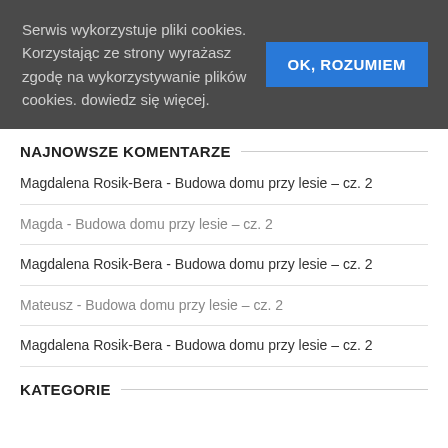Serwis wykorzystuje pliki cookies. Korzystając ze strony wyrażasz zgodę na wykorzystywanie plików cookies. dowiedz się więcej.
OK, ROZUMIEM
NAJNOWSZE KOMENTARZE
Magdalena Rosik-Bera - Budowa domu przy lesie – cz. 2
Magda - Budowa domu przy lesie – cz. 2
Magdalena Rosik-Bera - Budowa domu przy lesie – cz. 2
Mateusz - Budowa domu przy lesie – cz. 2
Magdalena Rosik-Bera - Budowa domu przy lesie – cz. 2
KATEGORIE